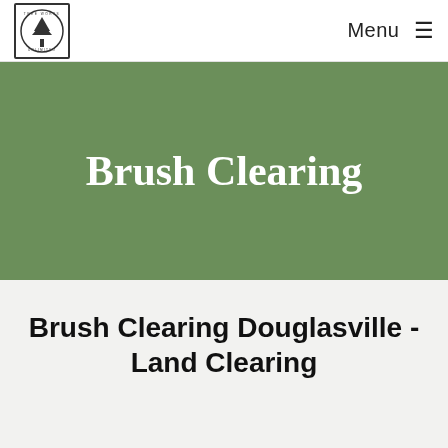Tree Works Unlimited — Menu
Brush Clearing
Brush Clearing Douglasville - Land Clearing